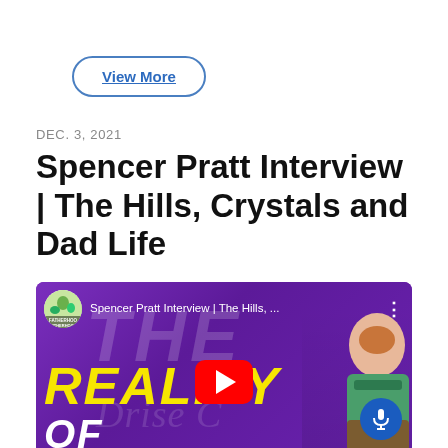View More
DEC. 3, 2021
Spencer Pratt Interview | The Hills, Crystals and Dad Life
[Figure (screenshot): YouTube video thumbnail for 'Spencer Pratt Interview | The Hills, ...' showing a purple background with 'THE' in large ghosted letters, 'REALITY' in large yellow italic text, 'OF' in white italic text, a YouTube play button in the center, a channel icon on the top left with the label FATHERHOOD, the video title to the right of the icon, a person visible on the right side, and a blue microphone button on the bottom right.]